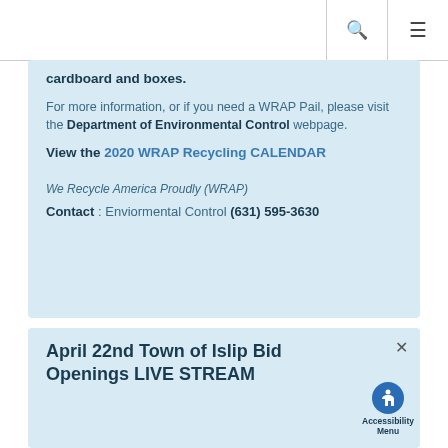🔍 ☰
cardboard and boxes.
For more information, or if you need a WRAP Pail, please visit the Department of Environmental Control webpage.
View the 2020 WRAP Recycling CALENDAR
We Recycle America Proudly (WRAP)
Contact : Enviormental Control (631) 595-3630
April 22nd Town of Islip Bid Openings LIVE STREAM